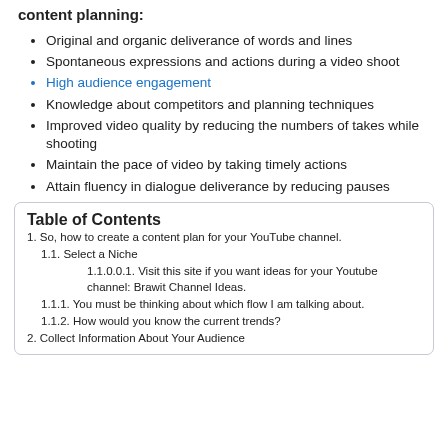content planning:
Original and organic deliverance of words and lines
Spontaneous expressions and actions during a video shoot
High audience engagement
Knowledge about competitors and planning techniques
Improved video quality by reducing the numbers of takes while shooting
Maintain the pace of video by taking timely actions
Attain fluency in dialogue deliverance by reducing pauses
Table of Contents
1. So, how to create a content plan for your YouTube channel.
1.1. Select a Niche
1.1.0.0.1. Visit this site if you want ideas for your Youtube channel: Brawit Channel Ideas.
1.1.1. You must be thinking about which flow I am talking about.
1.1.2. How would you know the current trends?
2. Collect Information About Your Audience